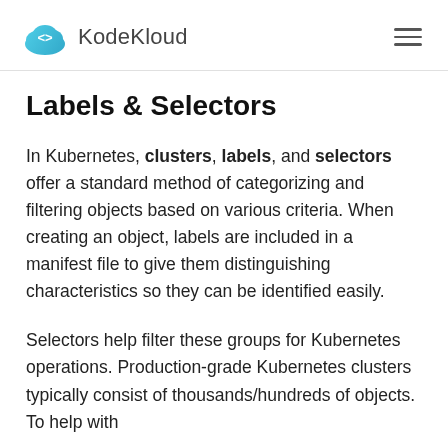KodeKloud
Labels & Selectors
In Kubernetes, clusters, labels, and selectors offer a standard method of categorizing and filtering objects based on various criteria. When creating an object, labels are included in a manifest file to give them distinguishing characteristics so they can be identified easily.
Selectors help filter these groups for Kubernetes operations. Production-grade Kubernetes clusters typically consist of thousands/hundreds of objects. To help with